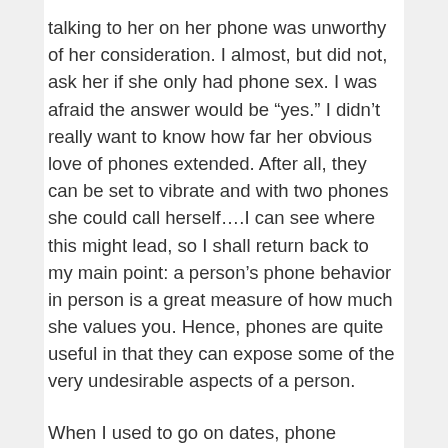talking to her on her phone was unworthy of her consideration. I almost, but did not, ask her if she only had phone sex. I was afraid the answer would be “yes.” I didn’t really want to know how far her obvious love of phones extended. After all, they can be set to vibrate and with two phones she could call herself….I can see where this might lead, so I shall return back to my main point: a person’s phone behavior in person is a great measure of how much she values you. Hence, phones are quite useful in that they can expose some of the very undesirable aspects of a person.
When I used to go on dates, phone behavior